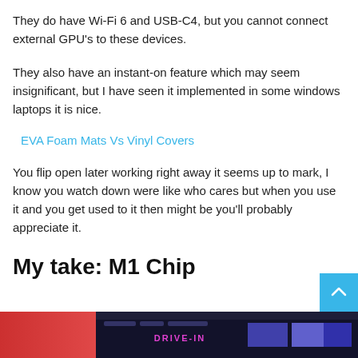They do have Wi-Fi 6 and USB-C4, but you cannot connect external GPU's to these devices.
They also have an instant-on feature which may seem insignificant, but I have seen it implemented in some windows laptops it is nice.
EVA Foam Mats Vs Vinyl Covers
You flip open later working right away it seems up to mark, I know you watch down were like who cares but when you use it and you get used to it then might be you'll probably appreciate it.
My take: M1 Chip
[Figure (screenshot): Screenshot of a desktop application with a dark theme and colorful content, partially visible at the bottom of the page.]